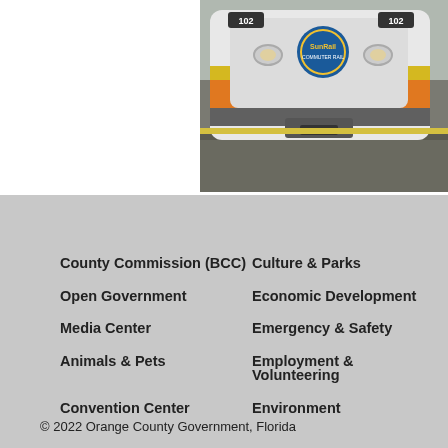[Figure (photo): Front of a SunRail commuter train (number 102) at a station platform, with orange and yellow stripe livery and the SunRail logo visible.]
County Commission (BCC)
Culture & Parks
Open Government
Economic Development
Media Center
Emergency & Safety
Animals & Pets
Employment & Volunteering
Convention Center
Environment
© 2022 Orange County Government, Florida